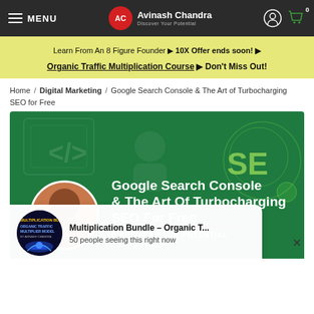MENU | AC Avinash Chandra Discover Your Potential | [user icon] [cart icon] 0
Learn From An 8 Figure Founder ▶ 10X Offer ends soon! ▶ Organic Traffic Multiplication Course ▶ Don't Miss Out!
Home / Digital Marketing / Google Search Console & The Art of Turbocharging SEO for Free
[Figure (illustration): Google Search Console & The Art Of Turbocharging SEO For Free course banner with green background, instructor photo, code icons, SEO magnifier graphic, and text: DISCOVER YOUR POTENTIAL with Avinash Chandra]
Multiplication Bundle – Organic T... | 50 people seeing this right now